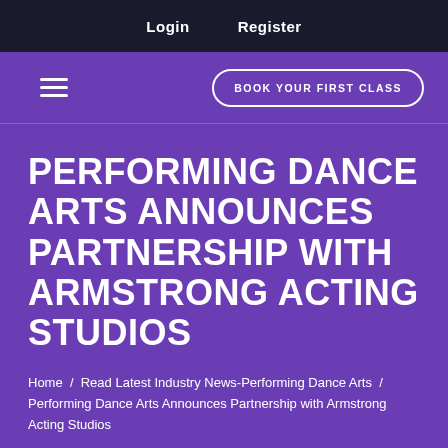Login   Register
≡  BOOK YOUR FIRST CLASS
PERFORMING DANCE ARTS ANNOUNCES PARTNERSHIP WITH ARMSTRONG ACTING STUDIOS
Home / Read Latest Industry News-Performing Dance Arts / Performing Dance Arts Announces Partnership with Armstrong Acting Studios